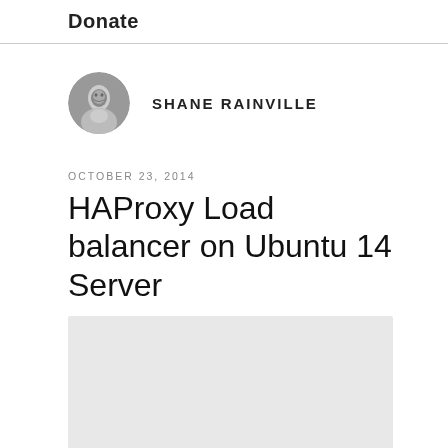Donate
[Figure (photo): Circular avatar photo of Shane Rainville, a man, in black and white]
SHANE RAINVILLE
OCTOBER 23, 2014
HAProxy Load balancer on Ubuntu 14 Server
[Figure (photo): Featured image placeholder, light gray rectangle]
Overview
HAProxy is a light-weight load balancer that is quick and